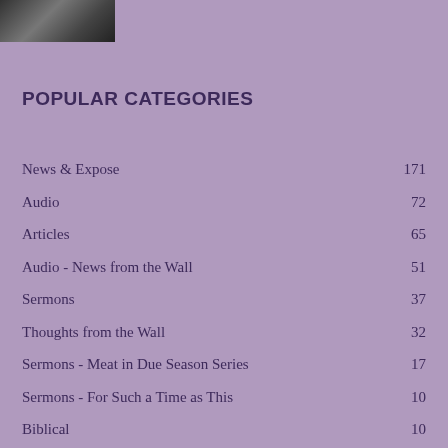[Figure (photo): Small black and white photo strip in top left corner]
POPULAR CATEGORIES
News & Expose    171
Audio    72
Articles    65
Audio - News from the Wall    51
Sermons    37
Thoughts from the Wall    32
Sermons - Meat in Due Season Series    17
Sermons - For Such a Time as This    10
Biblical    10